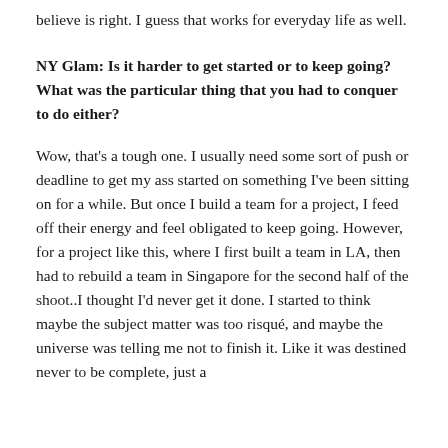believe is right. I guess that works for everyday life as well.
NY Glam: Is it harder to get started or to keep going? What was the particular thing that you had to conquer to do either?
Wow, that's a tough one. I usually need some sort of push or deadline to get my ass started on something I've been sitting on for a while. But once I build a team for a project, I feed off their energy and feel obligated to keep going. However, for a project like this, where I first built a team in LA, then had to rebuild a team in Singapore for the second half of the shoot..I thought I'd never get it done. I started to think maybe the subject matter was too risqué, and maybe the universe was telling me not to finish it. Like it was destined never to be complete, just a